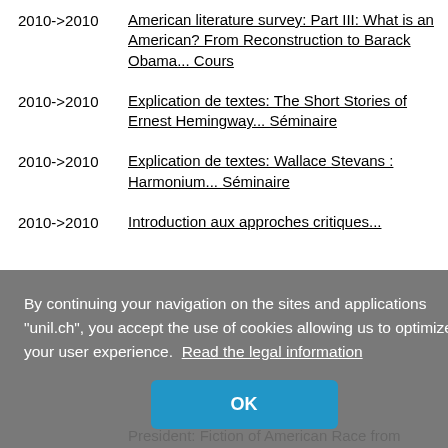2010->2010	American literature survey: Part III: What is an American? From Reconstruction to Barack Obama... Cours
2010->2010	Explication de textes: The Short Stories of Ernest Hemingway... Séminaire
2010->2010	Explication de textes: Wallace Stevans : Harmonium... Séminaire
2010->2010	Introduction aux approches critiques...
[Figure (screenshot): Cookie consent overlay with gray background. Text: 'By continuing your navigation on the sites and applications "unil.ch", you accept the use of cookies allowing us to optimize your user experience. Read the legal information'. Blue OK button centered at bottom.]
President: Fiction of American Race from